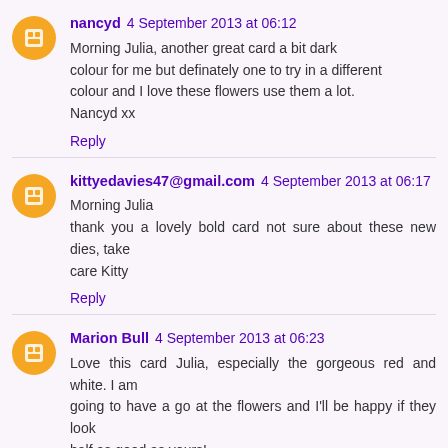nancyd  4 September 2013 at 06:12
Morning Julia, another great card a bit dark colour for me but definately one to try in a different colour and I love these flowers use them a lot.
Nancyd xx
Reply
kittyedavies47@gmail.com  4 September 2013 at 06:17
Morning Julia
thank you a lovely bold card not sure about these new dies, take care Kitty
Reply
Marion Bull  4 September 2013 at 06:23
Love this card Julia, especially the gorgeous red and white. I am going to have a go at the flowers and I'll be happy if they look half as good as yours!